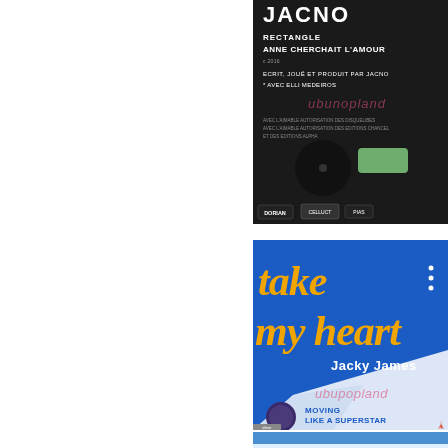[Figure (photo): Record sleeve back cover for JACNO - Rectangle / Anne Cherchait L'Amour. Dark/black background with white text reading: JACNO, RECTANGLE, ANNE CHERCHAIT L'AMOUR, ECRIT, JOUE ET PRODUIT PAR JACNO, AVEC ELLI MEDEIROS, with smaller text credits. Pink/red watermark text 'ubunopland' overlaid. A green sticker/label on the sleeve. Logos at the bottom: DORIAN, CELLUCT, PIAS.]
[Figure (photo): Record sleeve for 'take my heart' by Jacky James. Blue background with large stylized yellow/gold italic text 'take my heart'. White text 'Jacky James' below. Pink/red watermark 'ubupopland' overlaid. A folded white paper/sleeve graphic in lower portion. Bottom: circular logo, 'MOVING LIKE A SUPERSTAR', 'silver' label logo, Eiffel Tower icon. Blue and white color scheme.]
[Figure (photo): Partial record sleeve visible at bottom of page, partially cropped. Blue and white colors visible.]